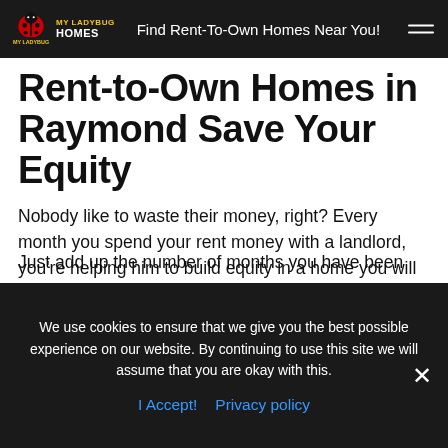My Ladybug Homes | Find Rent-To-Own Homes Near You!
Rent-to-Own Homes in Raymond Save Your Equity
Nobody like to waste their money, right? Every month you spend your rent money with a landlord, you're helping him to build equity in a home you will never own. This is just one way you can voluntarily give away your wealth to someone else without realizing you have other options. If you are patient and persevere in shopping for your new home to rent, the right rent-to-own home will probably find you.
Just add up the number of months you have been
We use cookies to ensure that we give you the best possible experience on our website. By continuing to use this site we will assume that you are okay with this.
I Accept!  Privacy policy